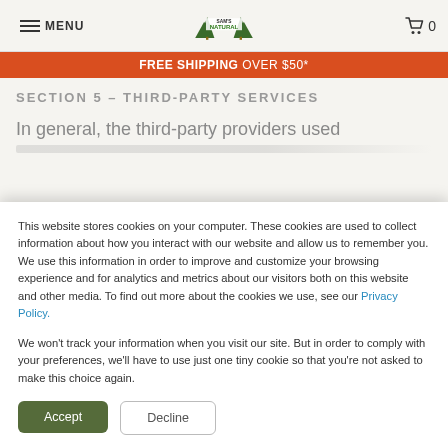MENU | Sam's Natural logo | cart 0
FREE SHIPPING OVER $50*
SECTION 5 – THIRD-PARTY SERVICES
In general, the third-party providers used
This website stores cookies on your computer. These cookies are used to collect information about how you interact with our website and allow us to remember you. We use this information in order to improve and customize your browsing experience and for analytics and metrics about our visitors both on this website and other media. To find out more about the cookies we use, see our Privacy Policy.

We won't track your information when you visit our site. But in order to comply with your preferences, we'll have to use just one tiny cookie so that you're not asked to make this choice again.
Accept
Decline